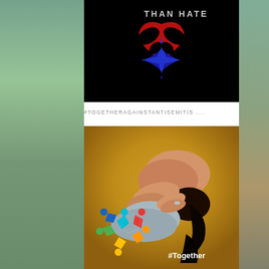[Figure (illustration): Stronger Than Hate logo on black background with red heart and blue star of david shape forming a combined symbol]
#TOGETHERAGAINSTANTISEMITIS ....
[Figure (photo): Person in distress bowed over, with a #Together Against Antisemitism colorful logo (Star of David made of people figures) overlaid at bottom left]